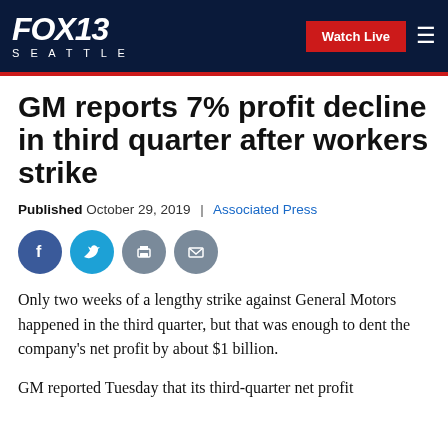FOX 13 SEATTLE | Watch Live
GM reports 7% profit decline in third quarter after workers strike
Published October 29, 2019 | Associated Press
[Figure (other): Social sharing icons: Facebook, Twitter, Print, Email]
Only two weeks of a lengthy strike against General Motors happened in the third quarter, but that was enough to dent the company's net profit by about $1 billion.
GM reported Tuesday that its third-quarter net profit